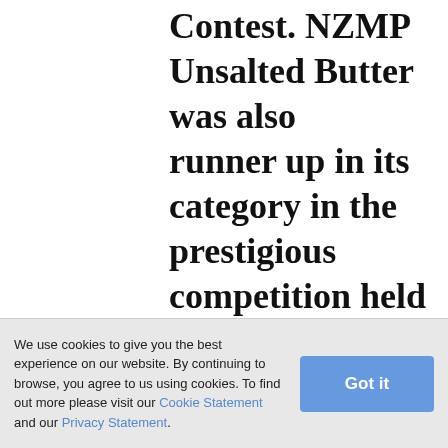Contest. NZMP Unsalted Butter was also runner up in its category in the prestigious competition held in the United States over the last week.
The bi-annual competition features the cream of the cheese and butter world, with products from 26 countries vying for top honours. This year's competition attracted a record-breaking 3,402 entries in over 120 categories.
We use cookies to give you the best experience on our website. By continuing to browse, you agree to us using cookies. To find out more please visit our Cookie Statement and our Privacy Statement.